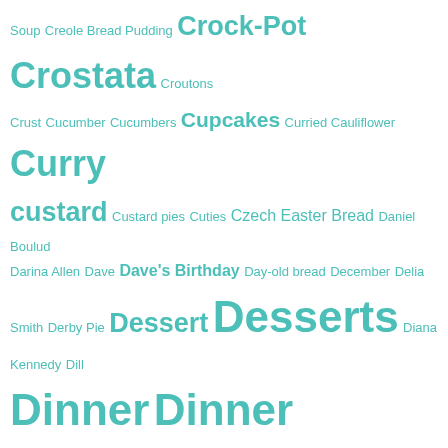[Figure (other): Tag cloud of food-related terms and proper names in teal/turquoise color, varying font sizes indicating frequency/importance. Terms include: Soup, Creole Bread Pudding, Crock-Pot, Crostata, Croutons, Crust, Cucumber, Cucumbers, Cupcakes, Curried Cauliflower, Curry, custard, Custard pies, Cuties, Czech Easter Bread, Daniel Boulud, Darina Allen, Dave, Dave's Birthday, Day-old bread, December, Delia Smith, Derby Pie, Dessert, Desserts, Diana Kennedy, Dill, Dinner, Dinner Salads, Dips, Dogs, Dogwood, Donna Hay, Dorie Greenspan, Dried Apricots, Dried Beans, Dried Fruit, Drinks, Drop in and Decorate, Duck, Dunn Brothers, Easter, Easter Bread, Easter Brunch, Easter cupcakes, Easter Dinner, Easter leftovers, Edamame, Edna Lewis, Egg Cheese Sausage Casserole, Eggplant, Eggs, Egg Salad, Egg whites, Egypt, Election, Eli Zabar, Elizabeth Andoh, Ella Brennan, Elvis Presley's Favorite Pound Cake, Emily, England, Entrée, Fall, Fall Cobbler, Fanny Farmer Baking Book, Farmers]